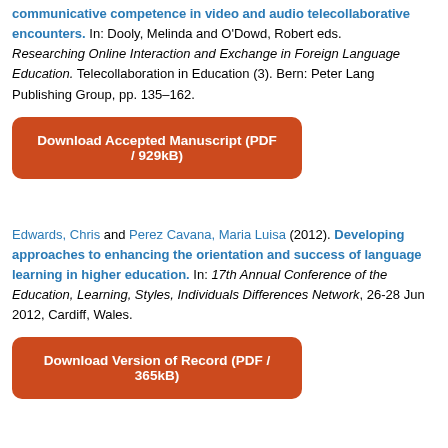communicative competence in video and audio telecollaborative encounters. In: Dooly, Melinda and O'Dowd, Robert eds. Researching Online Interaction and Exchange in Foreign Language Education. Telecollaboration in Education (3). Bern: Peter Lang Publishing Group, pp. 135–162.
Download Accepted Manuscript (PDF / 929kB)
Edwards, Chris and Perez Cavana, Maria Luisa (2012). Developing approaches to enhancing the orientation and success of language learning in higher education. In: 17th Annual Conference of the Education, Learning, Styles, Individuals Differences Network, 26-28 Jun 2012, Cardiff, Wales.
Download Version of Record (PDF / 365kB)